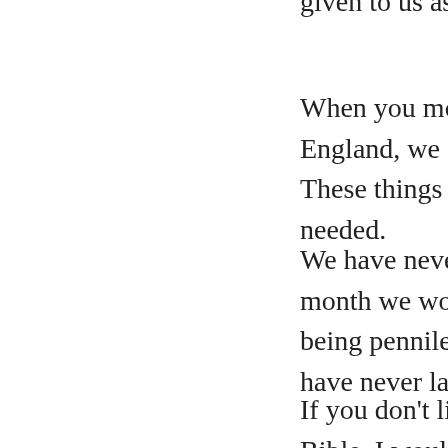given to us as farew
When you move to England, we didn't h These things are e needed.
We have never save month we would be being penniless mea have never lacked a
If you don't live the B Bible, I wouldn't be conviction.